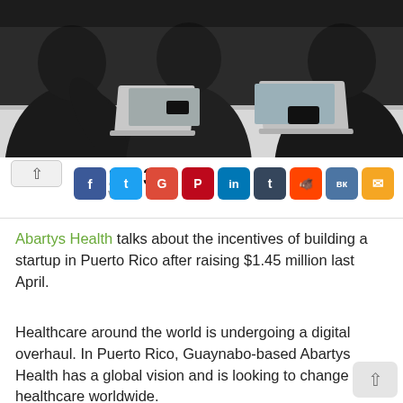[Figure (photo): Team of people working around a white table with laptops, photographed from above at an angle. Dark clothing, modern office setting.]
10.3K VIEWS
[Figure (infographic): Social share buttons: Facebook (blue), Twitter (cyan), Google+ (red), Pinterest (dark red), LinkedIn (blue), Tumblr (dark navy), Reddit (orange), VK (steel blue), Email (yellow)]
Abartys Health talks about the incentives of building a startup in Puerto Rico after raising $1.45 million last April.
Healthcare around the world is undergoing a digital overhaul. In Puerto Rico, Guaynabo-based Abartys Health has a global vision and is looking to change healthcare worldwide.